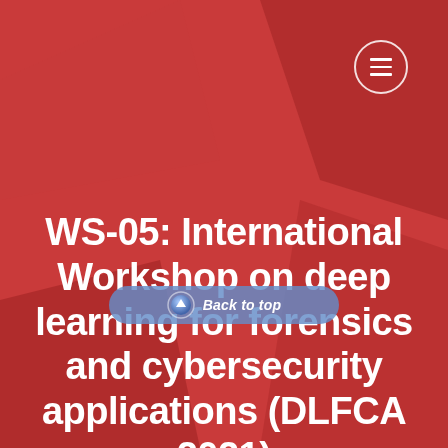[Figure (screenshot): Red background with geometric polygon overlays forming angular shapes, a circular menu button in the top-right corner with three horizontal lines (hamburger icon), and a 'Back to top' button overlaid near the bottom center.]
WS-05: International Workshop on deep learning for forensics and cybersecurity applications (DLFCA 2021)